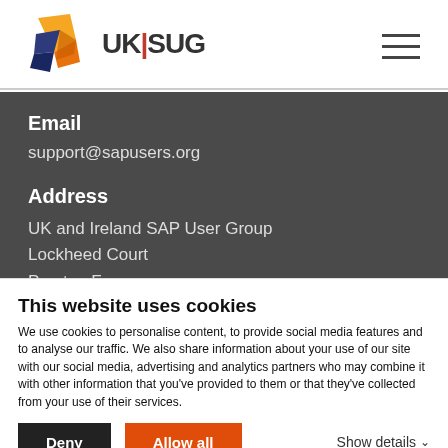UKISUG logo and navigation menu
Email
support@sapusers.org
Address
UK and Ireland SAP User Group
Lockheed Court
Preston Farm
This website uses cookies
We use cookies to personalise content, to provide social media features and to analyse our traffic. We also share information about your use of our site with our social media, advertising and analytics partners who may combine it with other information that you've provided to them or that they've collected from your use of their services.
Deny | Allow all | Show details